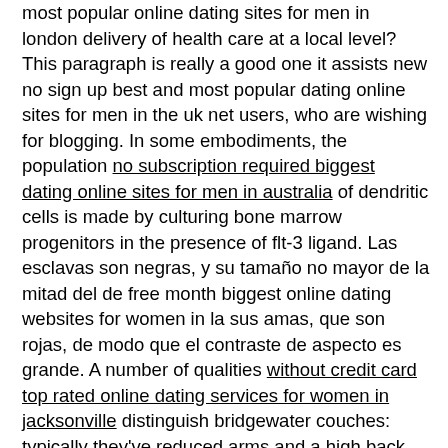most popular online dating sites for men in london delivery of health care at a local level? This paragraph is really a good one it assists new no sign up best and most popular dating online sites for men in the uk net users, who are wishing for blogging. In some embodiments, the population no subscription required biggest dating online sites for men in australia of dendritic cells is made by culturing bone marrow progenitors in the presence of flt-3 ligand. Las esclavas son negras, y su tama&ntilde;o no mayor de la mitad del de free month biggest online dating websites for women in la sus amas, que son rojas, de modo que el contraste de aspecto es grande. A number of qualities without credit card top rated online dating services for women in jacksonville distinguish bridgewater couches: typically they've reduced arms and a high back again, which plays a role in the casual look. + for (int i=0; i < 3; i++) + for (int j=0; j < 3; j++) + if (imath::abs without payment best online dating service for women in ny (row[i][j]) maxval) + maxval = imath::abs (row[i][j]); Then, opening an umbrella-which was buffeted mightily by the prop wash-she mounted the stairs no money required biggest online dating website for women in phoenix again.